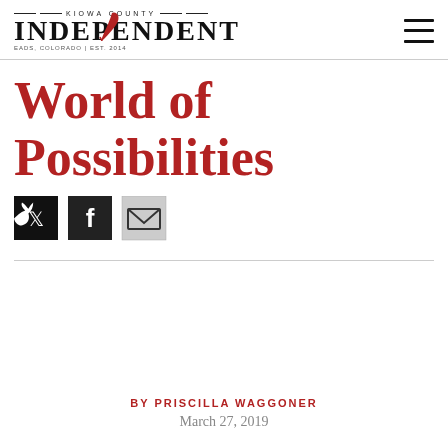Kiowa County Independent
World of Possibilities
[Figure (other): Social media share icons: Twitter, Facebook, Email]
BY PRISCILLA WAGGONER
March 27, 2019